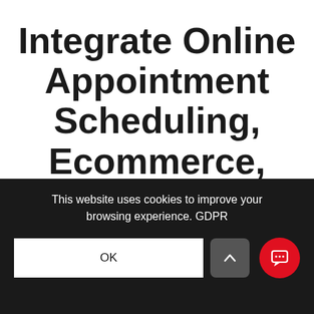Integrate Online Appointment Scheduling, Ecommerce, Online Ordering and More.
Your site must have continual fresh
This website uses cookies to improve your browsing experience. GDPR
OK